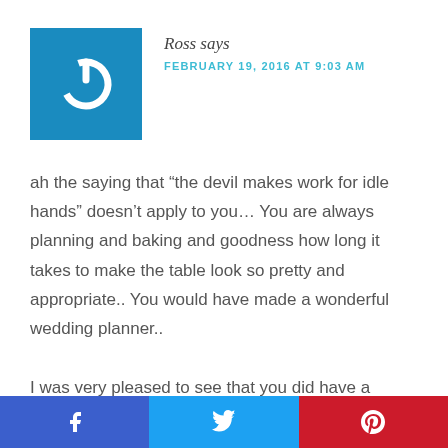[Figure (logo): Blue square avatar with white power button icon]
Ross says
FEBRUARY 19, 2016 AT 9:03 AM
ah the saying that “the devil makes work for idle hands” doesn’t apply to you… You are always planning and baking and goodness how long it takes to make the table look so pretty and appropriate.. You would have made a wonderful wedding planner..
I was very pleased to see that you did have a second private dinner for just you and the Captain
[Figure (infographic): Share bar with Facebook (blue), Twitter (cyan), and Pinterest (red) buttons]